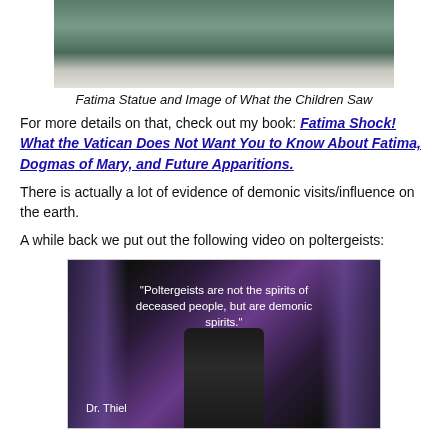[Figure (photo): Photo of Fatima statue and an image of what the children saw at Fatima]
Fatima Statue and Image of What the Children Saw
For more details on that, check out my book: Fatima Shock! What the Vatican Does Not Want You to Know About Fatima, Dogmas of Mary, and Future Apparitions.
There is actually a lot of evidence of demonic visits/influence on the earth.
A while back we put out the following video on poltergeists:
[Figure (screenshot): Video screenshot showing Dr. Thiel with quote: "Poltergeists are not the spirits of deceased people, but are demonic spirits." Dr. Thiel]